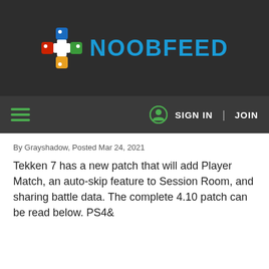[Figure (logo): NoobFeed logo with colorful cross/plus icon and blue NOOBFEED text on dark background]
SIGN IN | JOIN
By Grayshadow, Posted Mar 24, 2021
Tekken 7 has a new patch that will add Player Match, an auto-skip feature to Session Room, and sharing battle data. The complete 4.10 patch can be read below. PS4&